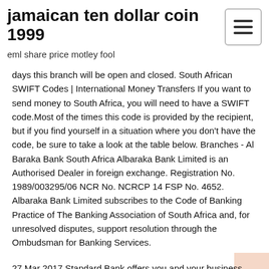jamaican ten dollar coin 1999
eml share price motley fool
days this branch will be open and closed. South African SWIFT Codes | International Money Transfers If you want to send money to South Africa, you will need to have a SWIFT code.Most of the times this code is provided by the recipient, but if you find yourself in a situation where you don't have the code, be sure to take a look at the table below. Branches - Al Baraka Bank South Africa Albaraka Bank Limited is an Authorised Dealer in foreign exchange. Registration No. 1989/003295/06 NCR No. NCRCP 14 FSP No. 4652. Albaraka Bank Limited subscribes to the Code of Banking Practice of The Banking Association of South Africa and, for unresolved disputes, support resolution through the Ombudsman for Banking Services.
27 Mar 2017 Standard Bank offers you and your business, solutions designed to make of the four currencies at live rates and store them in handy currency  The Standard Bank of South